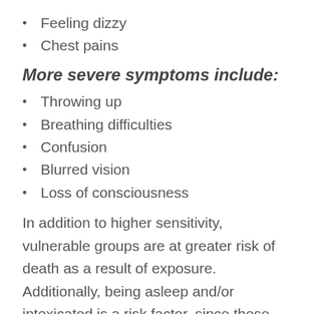Feeling dizzy
Chest pains
More severe symptoms include:
Throwing up
Breathing difficulties
Confusion
Blurred vision
Loss of consciousness
In addition to higher sensitivity, vulnerable groups are at greater risk of death as a result of exposure. Additionally, being asleep and/or intoxicated is a risk factor, since these states of consciousness make it harder for a person to